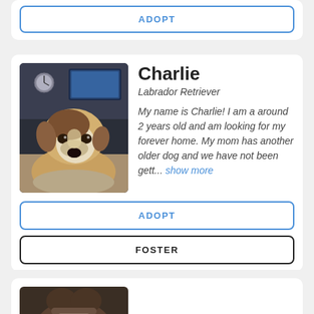ADOPT
[Figure (photo): Close-up photo of a brown and white dog (Charlie), a Labrador Retriever mix, looking at the camera while resting indoors. A TV and room decor visible in the background.]
Charlie
Labrador Retriever
My name is Charlie! I am a around 2 years old and am looking for my forever home. My mom has another older dog and we have not been gett... show more
ADOPT
FOSTER
[Figure (photo): Partial photo of another dog visible at the bottom of the page.]